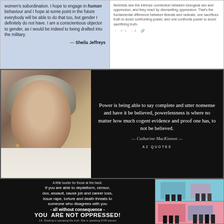[Figure (photo): Light blue panel with a quote from Sheila Jeffreys about gender and conscientious objection]
women's subordination. I hope to engage in human behaviour and I hope at some point in the future everybody will be able to do that too, but gender I definitely do not have. I am a conscientious objector to gender, as I would be indeed to being drafted into the military.

— Sheila Jeffreys
[Figure (screenshot): Twitter/social media post discussing the difference between liberals and radicals regarding biological sex and oppression]
feminists see the intrinsic connection between biological sex and oppression, and they react by dismantling oppression. That's the fundamental difference between liberals and radicals; one sacrifices truth to avoid confronting power, and one confronts power to avoid sacrificing truth.
[Figure (photo): Dark background image with photo of Catharine MacKinnon on the left and a quote on the right: Power is being able to say complete and utter nonsense and have it be believed, powerlessness is where no matter how much cogent evidence and proof one has, to not be believed. — Catharine MacKinnon — AZ QUOTES]
[Figure (infographic): Black background text graphic: A little louder for those at the back: If you are able to deplatform, censor, dox, assault, cause job and career loss, issue rape, torture and death threats to someone who disagrees with you - all without consequence - YOU ARE NOT OPPRESSED! J.K. Rowling is speaking the truth. She is speaking FOR women]
[Figure (illustration): Two small colorful illustrations of store/street scenes with human silhouettes]